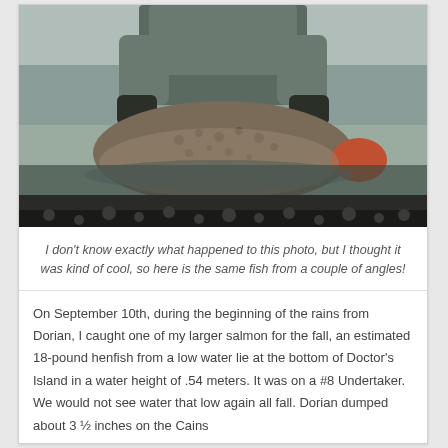[Figure (photo): A person kneeling in a river holding a large salmon fish, wearing waders and fishing gear. The fish is spotted/speckled and quite large. Rocky shoreline visible in background.]
I don't know exactly what happened to this photo, but I thought it was kind of cool, so here is the same fish from a couple of angles!
On September 10th, during the beginning of the rains from Dorian, I caught one of my larger salmon for the fall, an estimated 18-pound henfish from a low water lie at the bottom of Doctor's Island in a water height of .54 meters. It was on a #8 Undertaker.  We would not see water that low again all fall.  Dorian dumped about 3 ½ inches on the Cains